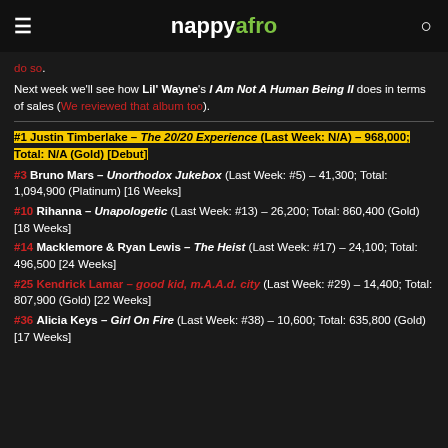nappyafro
do so.
Next week we'll see how Lil' Wayne's I Am Not A Human Being II does in terms of sales (We reviewed that album too).
#1 Justin Timberlake – The 20/20 Experience (Last Week: N/A) – 968,000; Total: N/A (Gold) [Debut]
#3 Bruno Mars – Unorthodox Jukebox (Last Week: #5) – 41,300; Total: 1,094,900 (Platinum) [16 Weeks]
#10 Rihanna – Unapologetic (Last Week: #13) – 26,200; Total: 860,400 (Gold) [18 Weeks]
#14 Macklemore & Ryan Lewis – The Heist (Last Week: #17) – 24,100; Total: 496,500 [24 Weeks]
#25 Kendrick Lamar – good kid, m.A.A.d. city (Last Week: #29) – 14,400; Total: 807,900 (Gold) [22 Weeks]
#36 Alicia Keys – Girl On Fire (Last Week: #38) – 10,600; Total: 635,800 (Gold) [17 Weeks]